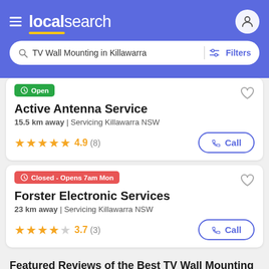localsearch
TV Wall Mounting in Killawarra | Filters
Open
Active Antenna Service
15.5 km away | Servicing Killawarra NSW
4.9 (8)
Closed - Opens 7am Mon
Forster Electronic Services
23 km away | Servicing Killawarra NSW
3.7 (3)
Featured Reviews of the Best TV Wall Mounting in Killawarra